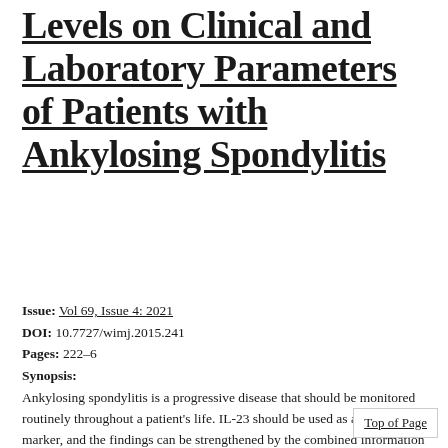Levels on Clinical and Laboratory Parameters of Patients with Ankylosing Spondylitis
Issue: Vol 69, Issue 4: 2021
DOI: 10.7727/wimj.2015.241
Pages: 222-6
Synopsis:
Ankylosing spondylitis is a progressive disease that should be monitored routinely throughout a patient's life. IL-23 should be used as a clinical marker, and the findings can be strengthened by the combined information obtained from